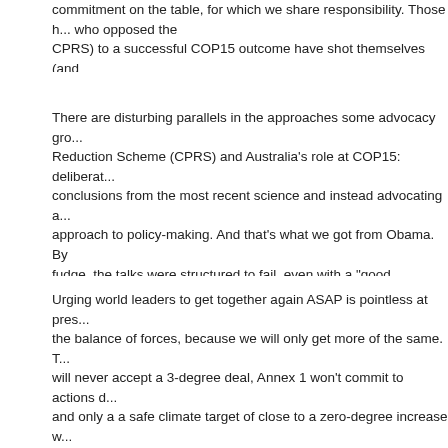commitment on the table, for which we share responsibility. Those who opposed the CPRS) to a successful COP15 outcome have shot themselves (and us) in the foot on the national stage.
There are disturbing parallels in the approaches some advocacy gro... Carbon Pollution Reduction Scheme (CPRS) and Australia's role at COP15: deliberately drawing wrong conclusions from the most recent science and instead advocating a deliberately inadequate approach to policy-making. And that's what we got from Obama. By structuring talks as a fudge, the talks were structured to fail, even with a "good outcome".
Urging world leaders to get together again ASAP is pointless at present, without changing the balance of forces, because we will only get more of the same. The developing world will never accept a 3-degree deal, Annex 1 won't commit to actions consistent with science, and only a a safe climate target of close to a zero-degree increase will get support from all nations.
Here in Australia, the problem we face is obvious. In 2010, much of the debate is between (federal opposition/deniers) and incremental action (Labor/some eNGOs). The CPRS failure and the Copenhagen Accord which are indefensible will be used by ... The Australia Institute and Climate Institute and its NGO associates will dutifully spend the year...
How do we define and move the debate to occupy the space between... and the economy-wide transformations that the science demands? We can do so by not negotiating with planet, recognising that politics-as-usual solutions a... only transformative action has a chance of succeeding. The time for dinky, incremental